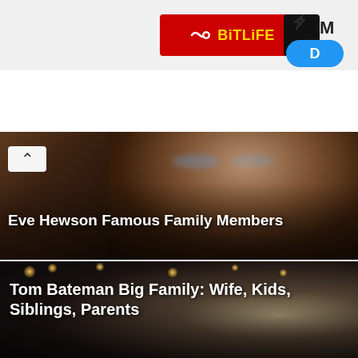[Figure (screenshot): BitLife app advertisement banner in red with yellow logo text, partial black panel and blue tab to the right]
[Figure (photo): Eve Hewson with long brown hair and blue eyes against wooden background]
Eve Hewson Famous Family Members
[Figure (photo): Tom Bateman smiling in dark nighttime background with bokeh lights]
Tom Bateman Big Family: Wife, Kids, Siblings, Parents
[Figure (photo): Jeremy Allen White with curly blonde hair against green foliage background]
Jeremy Allen White family: wife, kids, siblings, parents